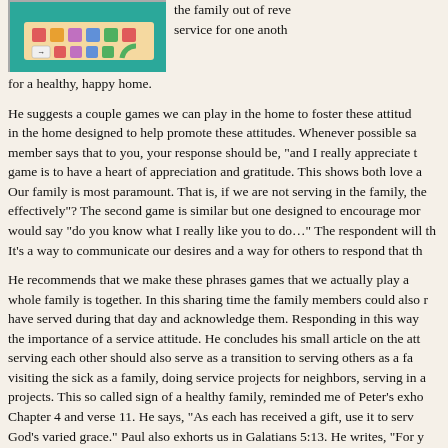[Figure (illustration): Teal-colored illustration with colorful game board or similar graphic elements]
the family out of reverence... service for one another... for a healthy, happy home.
He suggests a couple games we can play in the home to foster these attitudes in the home designed to help promote these attitudes. Whenever possible sa member says that to you, your response should be, "and I really appreciate t game is to have a heart of appreciation and gratitude. This shows both love a Our family is most paramount. That is, if we are not serving in the family, the effectively"? The second game is similar but one designed to encourage mor would say "do you know what I really like you to do…" The respondent will th It's a way to communicate our desires and a way for others to respond that th
He recommends that we make these phrases games that we actually play a whole family is together. In this sharing time the family members could also r have served during that day and acknowledge them. Responding in this way the importance of a service attitude. He concludes his small article on the att serving each other should also serve as a transition to serving others as a fa visiting the sick as a family, doing service projects for neighbors, serving in a projects. This so called sign of a healthy family, reminded me of Peter's exho Chapter 4 and verse 11. He says, "As each has received a gift, use it to serv God's varied grace." Paul also exhorts us in Galatians 5:13. He writes, "For y Only do not use your freedom as an opportunity for the flesh, but through lov other within the family, and then serving others as a family, is indeed one way